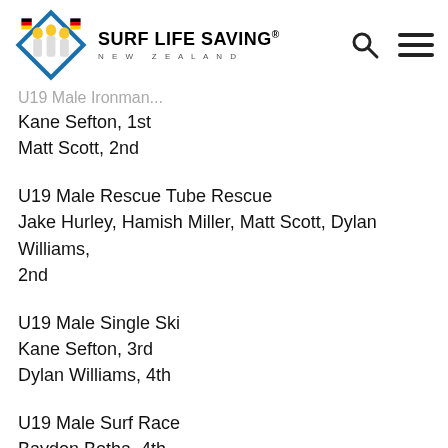SURF LIFE SAVING® NEW ZEALAND
U19 Male [Ironman] (partial)
Kane Sefton, 1st
Matt Scott, 2nd
U19 Male Rescue Tube Rescue
Jake Hurley, Hamish Miller, Matt Scott, Dylan Williams, 2nd
U19 Male Single Ski
Kane Sefton, 3rd
Dylan Williams, 4th
U19 Male Surf Race
Baydon Botha, 4th
Matt Scott, 5th
U19 Male Taplin Relay (6 team)